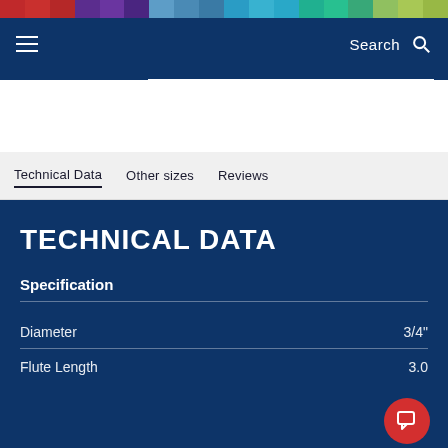Navigation bar with hamburger menu, Search, and search icon
Technical Data  Other sizes  Reviews
TECHNICAL DATA
Specification
| Property | Value |
| --- | --- |
| Diameter | 3/4" |
| Flute Length | 3.0 |